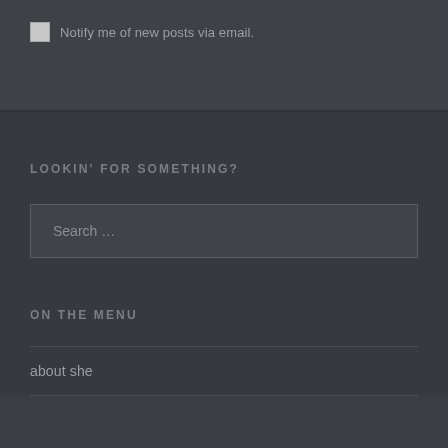Notify me of new posts via email.
LOOKIN' FOR SOMETHING?
Search …
ON THE MENU
about she